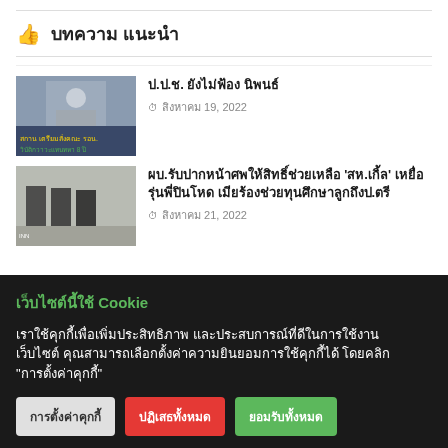👍 บทความ แนะนำ
[Figure (photo): Thumbnail image of a masked official at a podium with Thai text overlay]
ป.ป.ช. ยังไม่ฟ้อง นิพนธ์
สิงหาคม 19, 2022
[Figure (photo): Thumbnail image of people in black mourning attire at a venue]
ผบ.รับปากหน้าศพให้สิทธิ์ช่วยเหลือ 'สห.เกิ้ล' เหยื่อรุ่นพี่ปินโหด เมียร้องช่วยทุนศึกษาลูกถึงป.ตรี
สิงหาคม 21, 2022
เว็บไซต์นี้ใช้ Cookie
เราใช้คุกกี้เพื่อเพิ่มประสิทธิภาพ และประสบการณ์ที่ดีในการใช้งานเว็บไซต์ คุณสามารถเลือกตั้งค่าความยินยอมการใช้คุกกี้ได้ โดยคลิก "การตั้งค่าคุกกี้"
การตั้งค่าคุกกี้
ปฏิเสธทั้งหมด
ยอมรับทั้งหมด